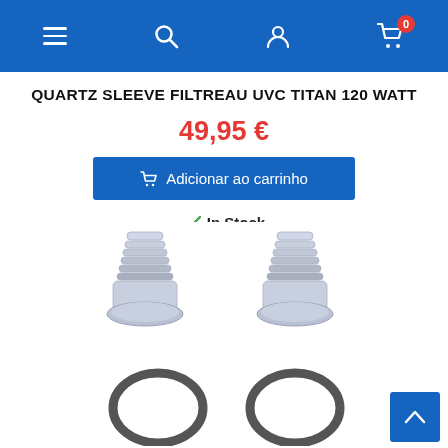Navigation bar with menu, search, account, and cart icons
QUARTZ SLEEVE FILTREAU UVC TITAN 120 WATT
49,95 €
Adicionar ao carrinho
In Stock
[Figure (photo): Two transparent plastic quartz sleeve fittings (threaded connectors) and two rubber O-rings for a Filtreau UVC Titan 120 Watt filter unit]